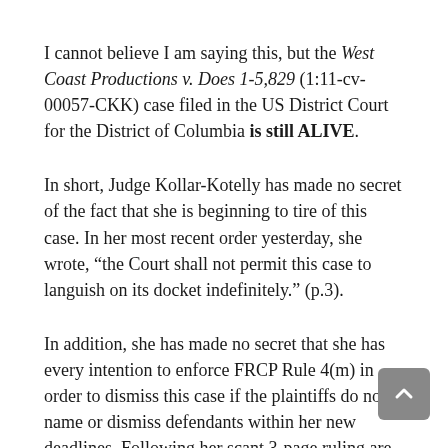I cannot believe I am saying this, but the West Coast Productions v. Does 1-5,829 (1:11-cv-00057-CKK) case filed in the US District Court for the District of Columbia is still ALIVE.
In short, Judge Kollar-Kotelly has made no secret of the fact that she is beginning to tire of this case. In her most recent order yesterday, she wrote, “the Court shall not permit this case to languish on its docket indefinitely.” (p.3).
In addition, she has made no secret that she has every intention to enforce FRCP Rule 4(m) in order to dismiss this case if the plaintiffs do not name or dismiss defendants within her new deadlines. Following her scant 3-page ruling are eighteen (18) pages of IP addresses in large print belonging to John Doe